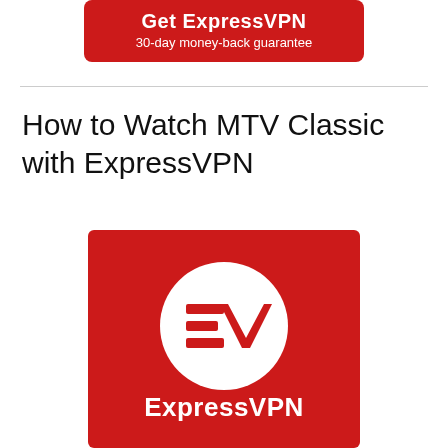[Figure (logo): Get ExpressVPN button — red rounded rectangle with white bold text 'Get ExpressVPN' and subtext '30-day money-back guarantee']
How to Watch MTV Classic with ExpressVPN
[Figure (logo): ExpressVPN logo — red square background with white circle containing the EV lightning bolt logo mark, and white 'ExpressVPN' wordmark below]